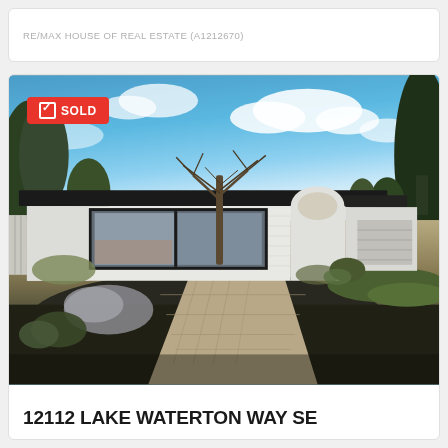RE/MAX HOUSE OF REAL ESTATE (A1212670)
[Figure (photo): Exterior photo of a mid-century modern bungalow with white brick and dark trim, large picture windows, a bare tree in the front yard, paver driveway, and blue sky with clouds. A red SOLD badge is overlaid on the upper left.]
12112 LAKE WATERTON WAY SE